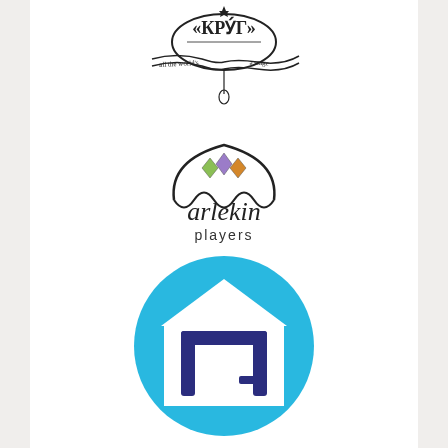[Figure (logo): KRUG theater logo — circular emblem with Cyrillic text 'КРУ́Г' and ribbon banner reading 'all the world's a stage']
[Figure (logo): Arlekin Players logo — jester hat silhouette with three colored diamond gems (green, purple, orange) and cursive 'arlekin players' text below]
[Figure (logo): Circular light blue logo with a white house silhouette and dark blue Hebrew letter Chet/Tav inside]
[Figure (logo): Feinberg & Alban PC text logo in dark red/maroon serif font]